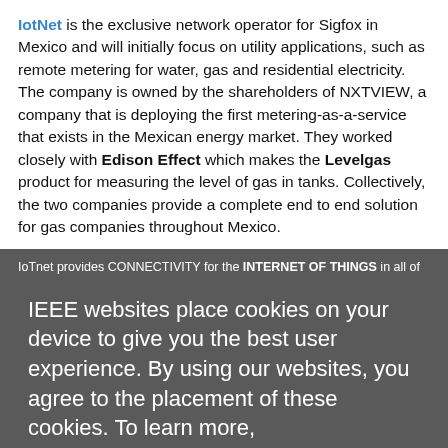IotNet is the exclusive network operator for Sigfox in Mexico and will initially focus on utility applications, such as remote metering for water, gas and residential electricity. The company is owned by the shareholders of NXTVIEW, a company that is deploying the first metering-as-a-service that exists in the Mexican energy market. They worked closely with Edison Effect which makes the Levelgas product for measuring the level of gas in tanks. Collectively, the two companies provide a complete end to end solution for gas companies throughout Mexico.
IoTnet provides CONNECTIVITY for the INTERNET OF THINGS in all of MEXICO.
LOW POWER
Optimized communication for low power consumption devices.
LOW COST
Low cost subscription, with easy integration technology and open protocol.
LONG-RANGE
The IoT global network with a coverage of 1.7 million km.
IEEE websites place cookies on your device to give you the best user experience. By using our websites, you agree to the placement of these cookies. To learn more, read our Privacy Policy.
Accept & Close